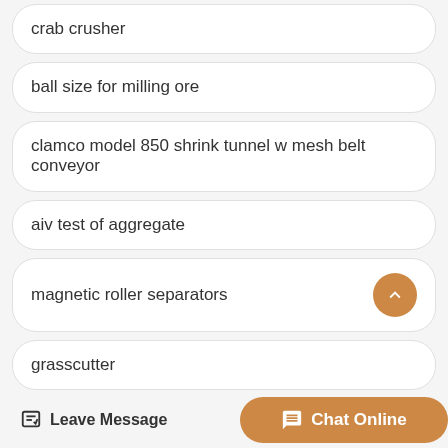crab crusher
ball size for milling ore
clamco model 850 shrink tunnel w mesh belt conveyor
aiv test of aggregate
magnetic roller separators
grasscutter
sphere grinding plant
Leave Message   Chat Online